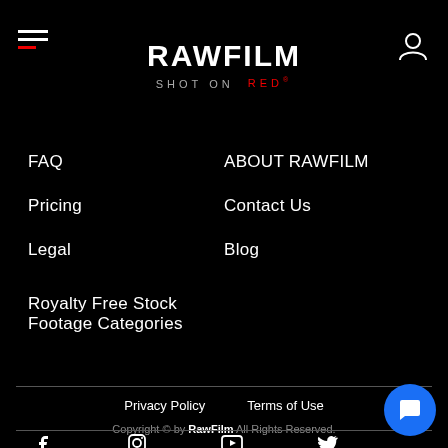RAWFILM SHOT ON RED
FAQ
ABOUT RAWFILM
Pricing
Contact Us
Legal
Blog
Royalty Free Stock Footage Categories
Privacy Policy   Terms of Use
Copyright © by RawFilm All Rights Reserved.